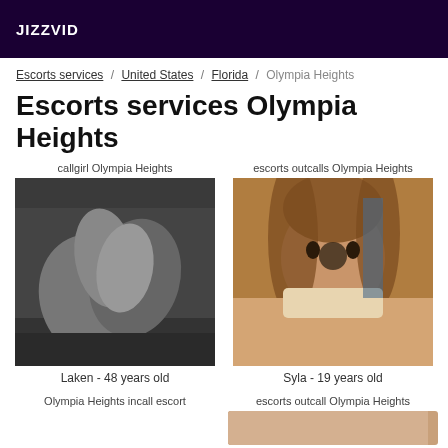JIZZVID
Escorts services / United States / Florida / Olympia Heights
Escorts services Olympia Heights
callgirl Olympia Heights
[Figure (photo): Black and white photo of legs/feet]
Laken - 48 years old
escorts outcalls Olympia Heights
[Figure (photo): Color photo of a young woman with long brown hair]
Syla - 19 years old
Olympia Heights incall escort
escorts outcall Olympia Heights